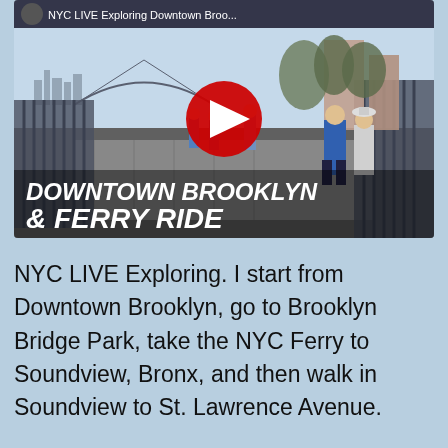[Figure (screenshot): YouTube video thumbnail showing people walking on a Brooklyn Bridge Park promenade with the NYC skyline in the background. Text overlay reads 'DOWNTOWN BROOKLYN & FERRY RIDE'. A YouTube play button is centered on the image. The video title bar at top reads 'NYC LIVE Exploring Downtown Broo...']
NYC LIVE Exploring. I start from Downtown Brooklyn, go to Brooklyn Bridge Park, take the NYC Ferry to Soundview, Bronx, and then walk in Soundview to St. Lawrence Avenue.